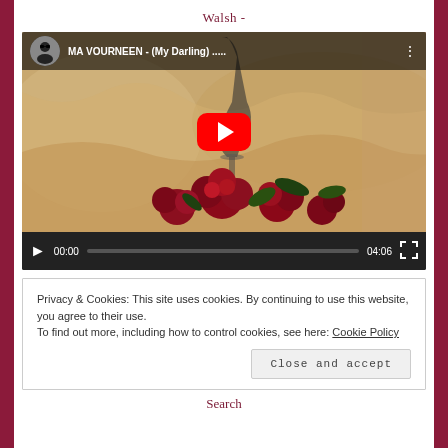Walsh -
[Figure (screenshot): Embedded YouTube video player showing 'MA VOURNEEN - (My Darling) .....' with a thumbnail of red roses and a wine glass on golden fabric. Video controls show 00:00 / 04:06 with play button and fullscreen icon.]
Privacy & Cookies: This site uses cookies. By continuing to use this website, you agree to their use. To find out more, including how to control cookies, see here: Cookie Policy
Close and accept
Search